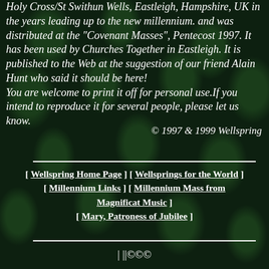Holy Cross/St Swithun Wells, Eastleigh, Hampshire, UK in the years leading up to the new millennium. and was distributed at the "Covenant Masses", Pentecost 1997. It has been used by Churches Together in Eastleigh. It is published to the Web at the suggestion of our friend Alain Hunt who said it should be here! You are welcome to print it off for personal use.If you intend to reproduce it for several people, please let us know.
© 1997 & 1999 Wellspring
[ Wellspring Home Page ] [ Wellsprings for the World ] [ Millennium Links ] [ Millennium Mass from Magnificat Music ] [ Mary, Patroness of Jubilee ]
| ||©©©